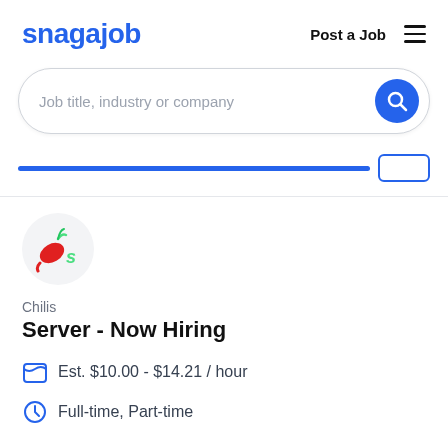snagajob   Post a Job  ☰
Job title, industry or company
Chilis
Server - Now Hiring
Est. $10.00 - $14.21 / hour
Full-time, Part-time